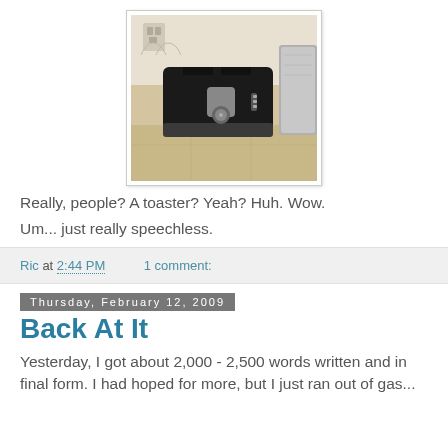[Figure (photo): A black toaster sitting on a kitchen counter with tile flooring visible. A stainless steel appliance is partially visible on the right. Outlet and kitchen corner visible in the background.]
Really, people? A toaster? Yeah? Huh. Wow.
Um... just really speechless.
Ric at 2:44 PM    1 comment:
Thursday, February 12, 2009
Back At It
Yesterday, I got about 2,000 - 2,500 words written and in final form. I had hoped for more, but I just ran out of gas...